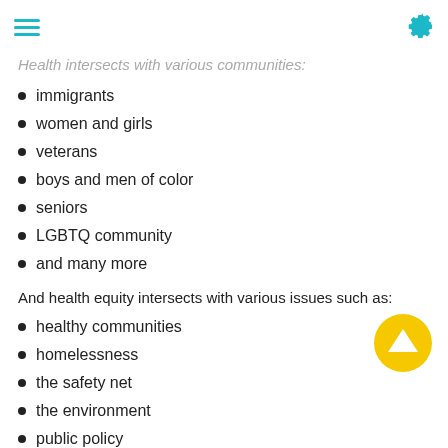great example of how no issue is an island.
Health intersects with various communities:
immigrants
women and girls
veterans
boys and men of color
seniors
LGBTQ community
and many more
And health equity intersects with various issues such as:
healthy communities
homelessness
the safety net
the environment
public policy
Join Us